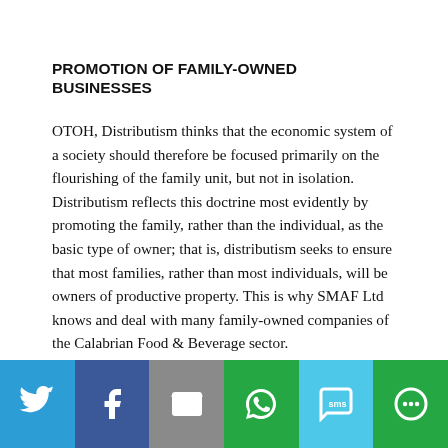PROMOTION OF FAMILY-OWNED BUSINESSES
OTOH, Distributism thinks that the economic system of a society should therefore be focused primarily on the flourishing of the family unit, but not in isolation. Distributism reflects this doctrine most evidently by promoting the family, rather than the individual, as the basic type of owner; that is, distributism seeks to ensure that most families, rather than most individuals, will be owners of productive property. This is why SMAF Ltd knows and deal with many family-owned companies of the Calabrian Food & Beverage sector.
[Figure (infographic): Social media sharing bar with Twitter, Facebook, Email, WhatsApp, SMS, and More buttons]